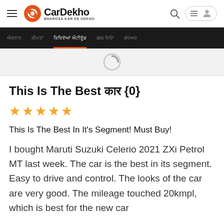CarDekho — BHAROSA KAR KE DEKHO
This Is The Best कार {0}
★★★★★
This Is The Best In It's Segment! Must Buy!
I bought Maruti Suzuki Celerio 2021 ZXi Petrol MT last week. The car is the best in its segment. Easy to drive and control. The looks of the car are very good. The mileage touched 20kmpl, which is best for the new car